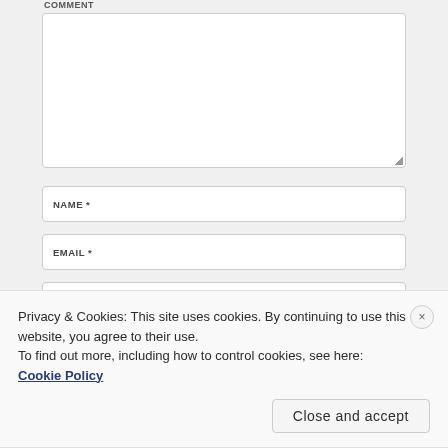COMMENT
NAME *
EMAIL *
WEBSITE
Privacy & Cookies: This site uses cookies. By continuing to use this website, you agree to their use.
To find out more, including how to control cookies, see here: Cookie Policy
Close and accept